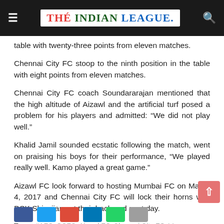THE INDIAN LEAGUE
table with twenty-three points from eleven matches.
Chennai City FC stoop to the ninth position in the table with eight points from eleven matches.
Chennai City FC coach Soundararajan mentioned that the high altitude of Aizawl and the artificial turf posed a problem for his players and admitted: “We did not play well.”
Khalid Jamil sounded ecstatic following the match, went on praising his boys for their performance, “We played really well. Kamo played a great game.”
Aizawl FC look forward to hosting Mumbai FC on March 4, 2017 and Chennai City FC will lock their horns with DSK Shivajians at their backyard next day.
Tags: #AFCvCCFC  Aizawl FC  Chennai City FC  I-League